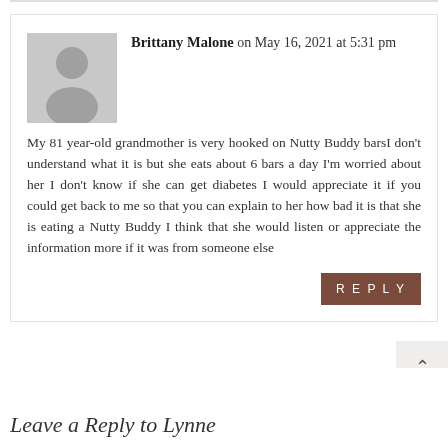Brittany Malone on May 16, 2021 at 5:31 pm

My 81 year-old grandmother is very hooked on Nutty Buddy bars I don't understand what it is but she eats about 6 bars a day I'm worried about her I don't know if she can get diabetes I would appreciate it if you could get back to me so that you can explain to her how bad it is that she is eating a Nutty Buddy I think that she would listen or appreciate the information more if it was from someone else
REPLY
Leave a Reply to Lynne